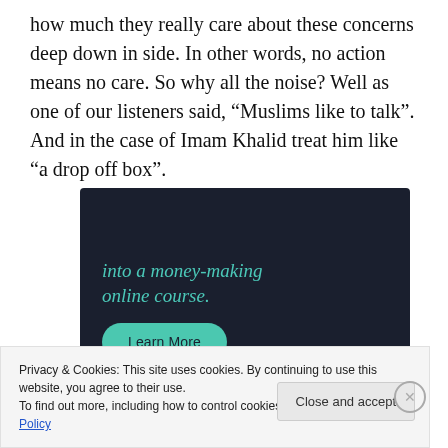how much they really care about these concerns deep down in side. In other words, no action means no care. So why all the noise? Well as one of our listeners said, “Muslims like to talk”. And in the case of Imam Khalid treat him like “a drop off box”.
[Figure (other): Dark-background advertisement banner with teal italic text reading 'into a money-making online course.' and a teal rounded 'Learn More' button.]
Privacy & Cookies: This site uses cookies. By continuing to use this website, you agree to their use.
To find out more, including how to control cookies, see here: Cookie Policy